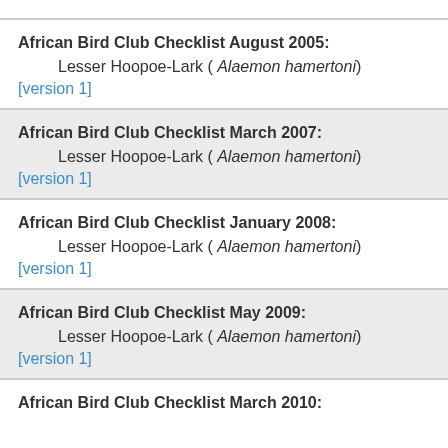African Bird Club Checklist August 2005:
Lesser Hoopoe-Lark ( Alaemon hamertoni)
[version 1]
African Bird Club Checklist March 2007:
Lesser Hoopoe-Lark ( Alaemon hamertoni)
[version 1]
African Bird Club Checklist January 2008:
Lesser Hoopoe-Lark ( Alaemon hamertoni)
[version 1]
African Bird Club Checklist May 2009:
Lesser Hoopoe-Lark ( Alaemon hamertoni)
[version 1]
African Bird Club Checklist March 2010: